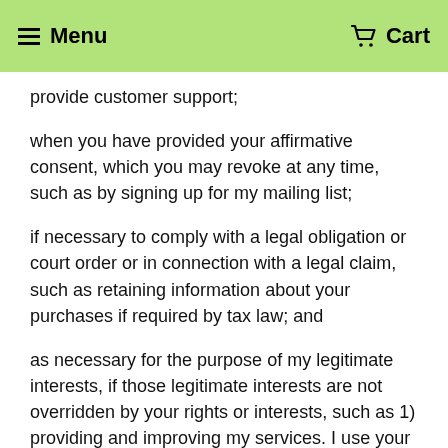Menu   Cart
provide customer support;
when you have provided your affirmative consent, which you may revoke at any time, such as by signing up for my mailing list;
if necessary to comply with a legal obligation or court order or in connection with a legal claim, such as retaining information about your purchases if required by tax law; and
as necessary for the purpose of my legitimate interests, if those legitimate interests are not overridden by your rights or interests, such as 1) providing and improving my services. I use your information to provide the services you requested and in my legitimate interest to improve my services; and 2) Compliance with the Shopify Seller Policy